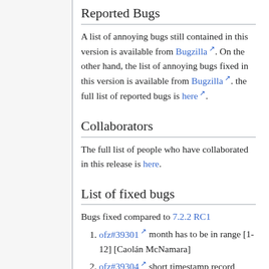Reported Bugs
A list of annoying bugs still contained in this version is available from Bugzilla. On the other hand, the list of annoying bugs fixed in this version is available from Bugzilla. the full list of reported bugs is here.
Collaborators
The full list of people who have collaborated in this release is here.
List of fixed bugs
Bugs fixed compared to 7.2.2 RC1
ofz#39301 month has to be in range [1-12] [Caolán McNamara]
ofz#39304 short timestamp record [Caolán McNamara]